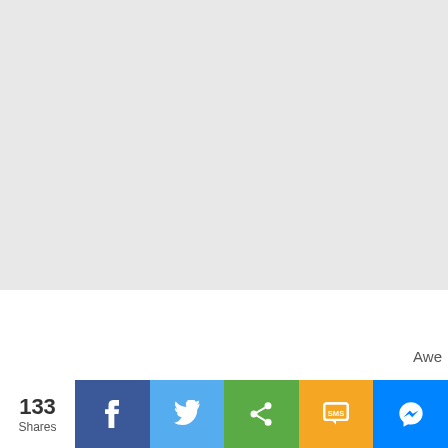[Figure (screenshot): Grey placeholder/loading area at top of page]
Awe
133 Shares
[Figure (infographic): Social share buttons bar: Facebook, Twitter, Share, SMS, Messenger]